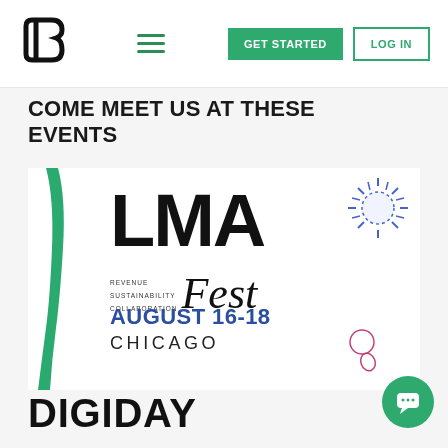GET STARTED | LOG IN
COME MEET US AT THESE EVENTS
[Figure (illustration): LMA Fest event card with green brush stroke, sun decoration, LMA logo in bold black, 'Fest' in italic script, 'REVENUE SUSTAINABILITY COLLABORATION' keywords, date AUGUST 16-18 in blue, CHICAGO in black, and pink circle decorations]
DIGIDAY